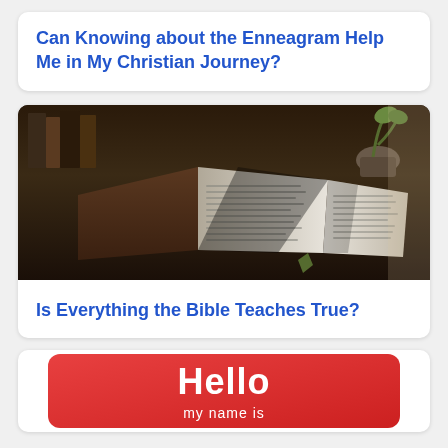Can Knowing about the Enneagram Help Me in My Christian Journey?
[Figure (photo): Open Bible on a table with books and a plant in the background, sunlight casting shadows across the pages]
Is Everything the Bible Teaches True?
[Figure (photo): Hello my name is name tag badge with red background and white text]